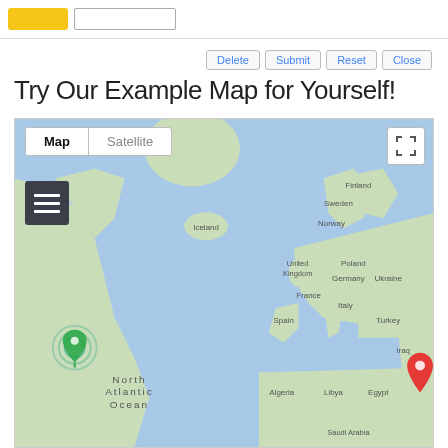[Logo] [Search box]
Delete  Submit  Reset  Close
Try Our Example Map for Yourself!
[Figure (map): Google Maps world map view showing North Atlantic Ocean, North America on the left, Europe (Finland, Sweden, Norway, United Kingdom, Poland, Germany, Ukraine, France, Italy, Spain, Turkey, Iraq), and parts of Africa (Algeria, Libya, Egypt). Shows Map/Satellite toggle, fullscreen button, and hamburger menu. A green animated map marker is visible near eastern USA, and a red marker is visible near Iraq/Iran border.]